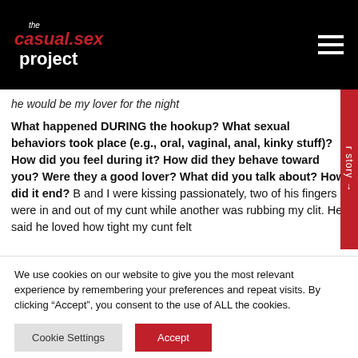[Figure (logo): The casual.sex project logo in white and red on black background, with hamburger menu icon on the right]
he would be my lover for the night
What happened DURING the hookup? What sexual behaviors took place (e.g., oral, vaginal, anal, kinky stuff)? How did you feel during it? How did they behave toward you? Were they a good lover? What did you talk about? How did it end? B and I were kissing passionately, two of his fingers were in and out of my cunt while another was rubbing my clit. He said he loved how tight my cunt felt
We use cookies on our website to give you the most relevant experience by remembering your preferences and repeat visits. By clicking “Accept”, you consent to the use of ALL the cookies.
Do not sell my personal information.
Cookie Settings
Accept